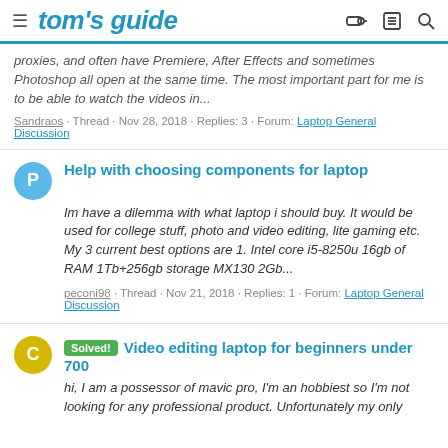tom's guide
proxies, and often have Premiere, After Effects and sometimes Photoshop all open at the same time. The most important part for me is to be able to watch the videos in...
Sandraos · Thread · Nov 28, 2018 · Replies: 3 · Forum: Laptop General Discussion
Help with choosing components for laptop
Im have a dilemma with what laptop i should buy. It would be used for college stuff, photo and video editing, lite gaming etc. My 3 current best options are 1. Intel core i5-8250u 16gb of RAM 1Tb+256gb storage MX130 2Gb...
peconi98 · Thread · Nov 21, 2018 · Replies: 1 · Forum: Laptop General Discussion
Video editing laptop for beginners under 700
hi, I am a possessor of mavic pro, I'm an hobbiest so I'm not looking for any professional product. Unfortunately my only